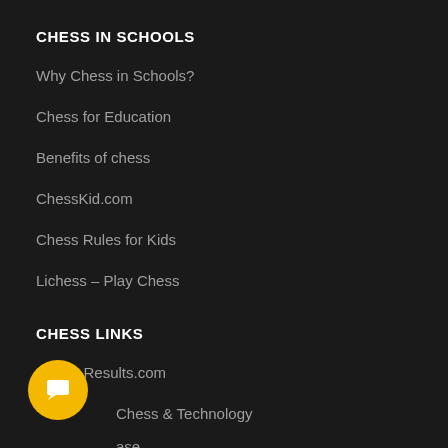CHESS IN SCHOOLS
Why Chess in Schools?
Chess for Education
Benefits of chess
ChessKid.com
Chess Rules for Kids
Lichess – Play Chess
CHESS LINKS
Chess-Results.com
Chess & Technology
…ase